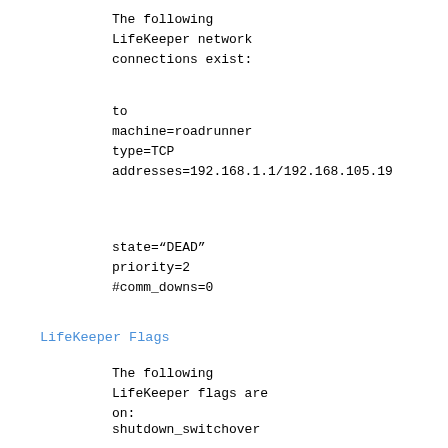The following LifeKeeper network connections exist:
to
machine=roadrunner
type=TCP
addresses=192.168.1.1/192.168.105.19
state="DEAD"
priority=2
#comm_downs=0
LifeKeeper Flags
The following LifeKeeper flags are on:
shutdown_switchover